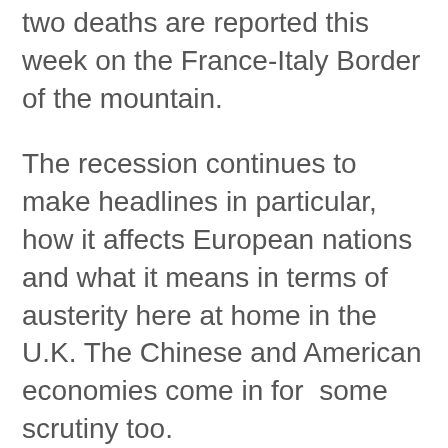two deaths are reported this week on the France-Italy Border of the mountain.
The recession continues to make headlines in particular, how it affects European nations and what it means in terms of austerity here at home in the U.K. The Chinese and American economies come in for  some scrutiny too.
A  Metropolitan policeman caught on video assaulting a newspaper seller on